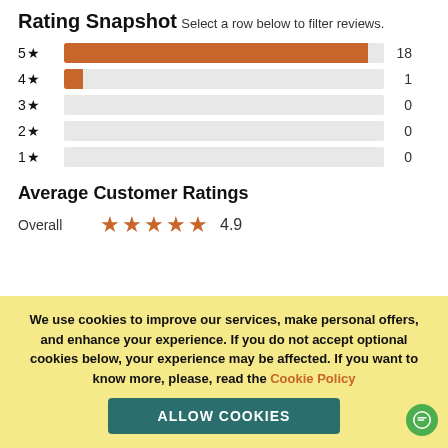Rating Snapshot
Select a row below to filter reviews.
[Figure (bar-chart): Rating Snapshot]
Average Customer Ratings
Overall  ★★★★★  4.9
We use cookies to improve our services, make personal offers, and enhance your experience. If you do not accept optional cookies below, your experience may be affected. If you want to know more, please, read the Cookie Policy
ALLOW COOKIES